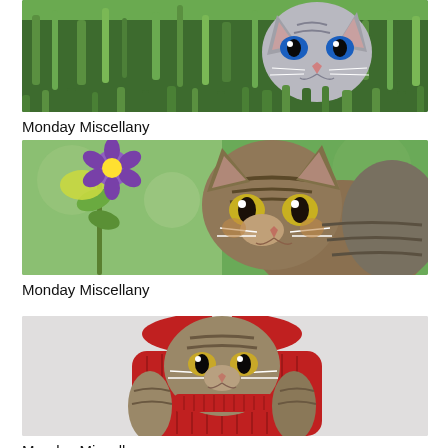[Figure (photo): Cat peeking through grass, partially cropped at top, with blue eyes]
Monday Miscellany
[Figure (photo): Tabby cat outdoors with purple flowers and green foliage in background]
Monday Miscellany
[Figure (photo): Cat wearing a red knitted sweater/hat, sitting against light gray background]
Monday Miscellany